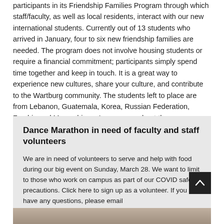participants in its Friendship Families Program through which staff/faculty, as well as local residents, interact with our new international students. Currently out of 13 students who arrived in January, four to six new friendship families are needed. The program does not involve housing students or require a financial commitment; participants simply spend time together and keep in touch. It is a great way to experience new cultures, share your culture, and contribute to the Wartburg community. The students left to place are from Lebanon, Guatemala, Korea, Russian Federation, Zambia and Mozambique. Learn more about the program and complete the interest form at this link. If you have questions, contact Wendy Mohlis at ext. 8745.
Dance Marathon in need of faculty and staff volunteers
We are in need of volunteers to serve and help with food during our big event on Sunday, March 28. We want to limit to those who work on campus as part of our COVID safety precautions. Click here to sign up as a volunteer. If you have any questions, please email amber.martenson@wartburg.edu.
[Figure (photo): Partial photo of a person, cropped at bottom of page]